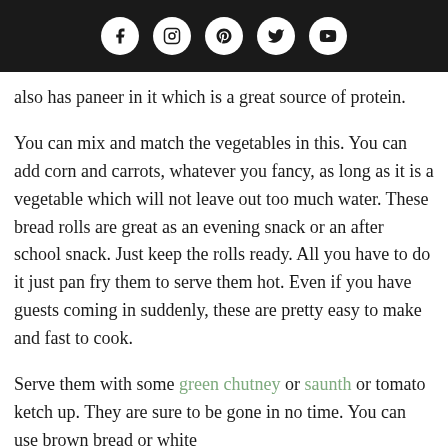Social media icons: Facebook, Instagram, Pinterest, Twitter, YouTube
also has paneer in it which is a great source of protein.
You can mix and match the vegetables in this. You can add corn and carrots, whatever you fancy, as long as it is a vegetable which will not leave out too much water. These bread rolls are great as an evening snack or an after school snack. Just keep the rolls ready. All you have to do it just pan fry them to serve them hot. Even if you have guests coming in suddenly, these are pretty easy to make and fast to cook.
Serve them with some green chutney or saunth or tomato ketch up. They are sure to be gone in no time. You can use brown bread or white